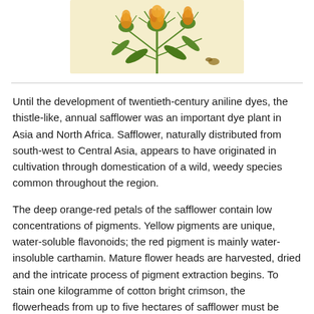[Figure (illustration): Botanical illustration of safflower plant showing orange-yellow thistle-like flower heads with green spiky leaves, rendered in a vintage botanical art style on a cream/beige background.]
Until the development of twentieth-century aniline dyes, the thistle-like, annual safflower was an important dye plant in Asia and North Africa. Safflower, naturally distributed from south-west to Central Asia, appears to have originated in cultivation through domestication of a wild, weedy species common throughout the region.
The deep orange-red petals of the safflower contain low concentrations of pigments. Yellow pigments are unique, water-soluble flavonoids; the red pigment is mainly water-insoluble carthamin. Mature flower heads are harvested, dried and the intricate process of pigment extraction begins. To stain one kilogramme of cotton bright crimson, the flowerheads from up to five hectares of safflower must be harvested.